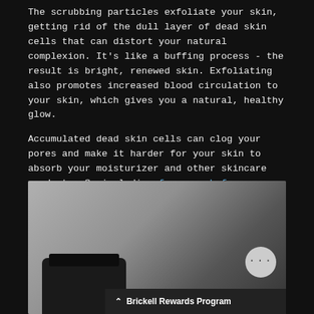The scrubbing particles exfoliate your skin, getting rid of the dull layer of dead skin cells that can distort your natural complexion. It's like a buffing process - the result is bright, renewed skin. Exfoliating also promotes increased blood circulation to your skin, which gives you a natural, healthy glow.
Accumulated dead skin cells can clog your pores and make it harder for your skin to absorb your moisturizer and other skincare products. So including face scrub for men as part of your routine improves your results overall.
[Figure (photo): Dark background product photo showing a dark jar of face scrub with lid, partially visible, on a grey surface. A chat bubble icon and Brickell Rewards Program bar are overlaid.]